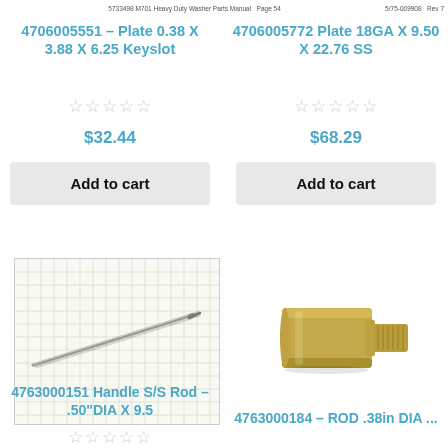5733498 M701 Heavy Duty Washer Parts Manual   Page 54   5/75-009908   Rev 7
4706005551 – Plate 0.38 X 3.88 X 6.25 Keyslot
☆☆☆☆☆
$32.44
Add to cart
4706005772 Plate 18GA X 9.50 X 22.76 SS
☆☆☆☆☆
$68.29
Add to cart
[Figure (photo): A thin stainless steel rod/pin photographed on a grid paper background]
[Figure (photo): A brass threaded rod/bolt with a wider cylindrical head]
4763000151 Handle S/S Rod – .50"DIA X 9.5
☆☆☆☆☆
4763000184 – ROD .38in DIA ...